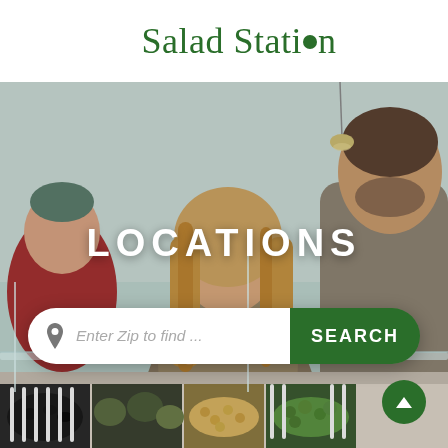Salad Station
[Figure (photo): People at a salad bar buffet – a woman with long blonde hair and a man in a grey t-shirt selecting food at a fresh food station, with another person in background]
LOCATIONS
Enter Zip to find ...
SEARCH